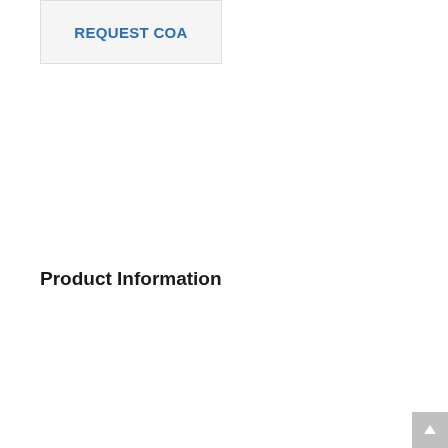[Figure (other): REQUEST COA button — a rectangular button with grey background and blue bold text reading 'REQUEST COA']
Product Information
| SKU: | A10215 |
| Category: | Antibodies |
| Aliases: | ACTB ; Actin, cytoplasmic 1 ; Beta-actin |